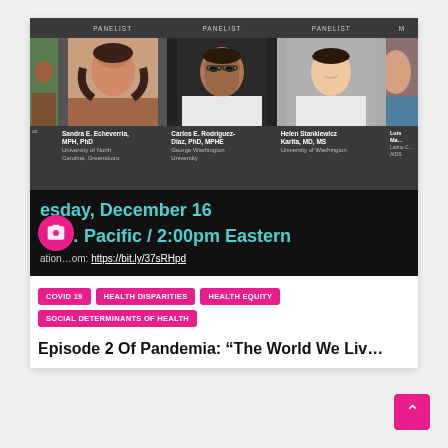[Figure (screenshot): Webinar screenshot showing panelist photos with labels: Sandra E. Echeverria MPH PhD (University of North Carolina, Greensboro), Carlos E. Rodriguez-Diaz PhD MPHE (George Washington University), Helen Stankiewicz Karita MD MS (University of Washington), Luis M... (Latino C... AIDS). Below, event date 'esday, December 16', time 'an... Pacific / 2:00pm Eastern', registration link https://bit.ly/37sRHpd. Camera icon overlay.]
COVID 19
HEALTH DISPARITIES
HEALTH EQUITY
SOCIAL DETERMINANTS OF HEALTH
Episode 2 Of Pandemia: “The World We Liv…